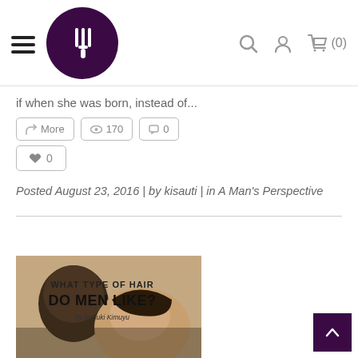Navigation header with hamburger menu, logo, search, account, and cart icons
if when she was born, instead of...
More  170  0
0
Posted August 23, 2016 | by kisauti | in A Man's Perspective
[Figure (photo): Article thumbnail showing a man and woman with text overlay: WHAT TYPE OF HAIR DO MEN LIKE? by Kariuki Kimuyu]